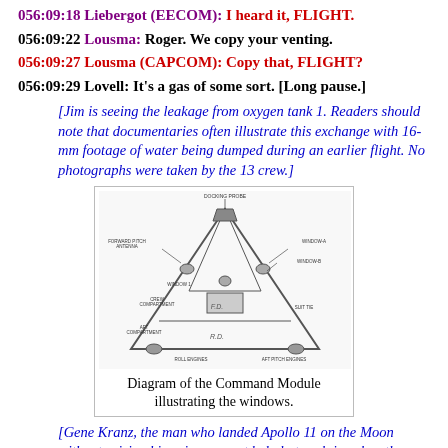056:09:18 Liebergot (EECOM): I heard it, FLIGHT.
056:09:22 Lousma: Roger. We copy your venting.
056:09:27 Lousma (CAPCOM): Copy that, FLIGHT?
056:09:29 Lovell: It's a gas of some sort. [Long pause.]
[Jim is seeing the leakage from oxygen tank 1. Readers should note that documentaries often illustrate this exchange with 16-mm footage of water being dumped during an earlier flight. No photographs were taken by the 13 crew.]
[Figure (engineering-diagram): Diagram of the Apollo Command Module showing cross-section with labeled windows, compartments including forward pitch antenna, windows, mission compartment, crew compartment, aft compartment, and roll engines.]
Diagram of the Command Module illustrating the windows.
[Gene Kranz, the man who landed Apollo 11 on the Moon without raising his voice, cannot help but exclaim when the news of the leak came to Mission Control.]